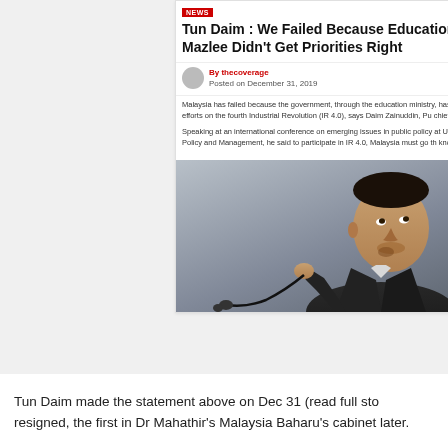Tun Daim : We Failed Because Education Ministry Under Mazlee Didn't Get Priorities Right
By thecoverage
Posted on December 31, 2019
Malaysia has failed because the government, through the education ministry, has not gotten its right in focusing its efforts on the fourth Industrial Revolution (IR 4.0), says Daim Zainuddin, Pu chief adviser.

Speaking at an international conference on emerging issues in public policy at Universiti Malay Institute of Public Policy and Management, he said to participate in IR 4.0, Malaysia must go th knowledge-based economy.
[Figure (photo): Photo of a man in a dark suit holding a microphone, looking upward to the right against a grey background.]
Tun Daim made the statement above on Dec 31 (read full sto resigned, the first in Dr Mahathir's Malaysia Baharu's cabinet later.